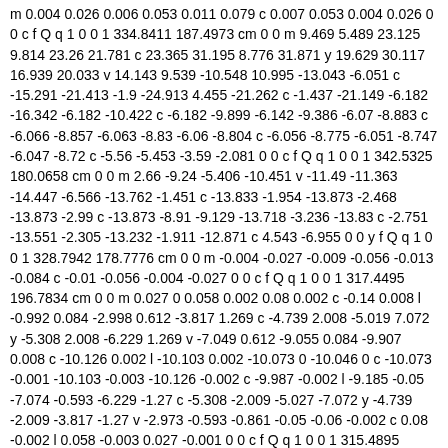m 0.004 0.026 0.006 0.053 0.011 0.079 c 0.007 0.053 0.004 0.026 0 0 c f Q q 1 0 0 1 334.8411 187.4973 cm 0 0 m 9.469 5.489 23.125 9.814 23.26 21.781 c 23.365 31.195 8.776 31.871 y 19.629 30.117 16.939 20.033 v 14.143 9.539 -10.548 10.995 -13.043 -6.051 c -15.291 -21.413 -1.9 -24.913 4.455 -21.262 c -1.437 -21.149 -6.182 -16.342 -6.182 -10.422 c -6.182 -9.899 -6.142 -9.386 -6.07 -8.883 c -6.066 -8.857 -6.063 -8.83 -6.06 -8.804 c -6.056 -8.775 -6.051 -8.747 -6.047 -8.72 c -5.56 -5.453 -3.59 -2.081 0 0 c f Q q 1 0 0 1 342.5325 180.0658 cm 0 0 m 2.66 -9.24 -5.406 -10.451 v -11.49 -11.363 -14.447 -6.566 -13.762 -1.451 c -13.833 -1.954 -13.873 -2.468 -13.873 -2.99 c -13.873 -8.91 -9.129 -13.718 -3.236 -13.83 c -2.751 -13.551 -2.305 -13.232 -1.911 -12.871 c 4.543 -6.955 0 0 y f Q q 1 0 0 1 328.7942 178.7776 cm 0 0 m -0.004 -0.027 -0.009 -0.056 -0.013 -0.084 c -0.01 -0.056 -0.004 -0.027 0 0 c f Q q 1 0 0 1 317.4495 196.7834 cm 0 0 m 0.027 0 0.058 0.002 0.08 0.002 c -0.14 0.008 l -0.992 0.084 -2.998 0.612 -3.817 1.269 c -4.739 2.008 -5.019 7.072 y -5.308 2.008 -6.229 1.269 v -7.049 0.612 -9.055 0.084 -9.907 0.008 c -10.126 0.002 l -10.103 0.002 -10.073 0 -10.046 0 c -10.073 -0.001 -10.103 -0.003 -10.126 -0.002 c -9.987 -0.002 l -9.185 -0.05 -7.074 -0.593 -6.229 -1.27 c -5.308 -2.009 -5.027 -7.072 y -4.739 -2.009 -3.817 -1.27 v -2.973 -0.593 -0.861 -0.05 -0.06 -0.002 c 0.08 -0.002 l 0.058 -0.003 0.027 -0.001 0 0 c f Q q 1 0 0 1 315.4895 193.719 cm 0 0 m 0.018 -0.016 0.036 -0.033 0.05 -0.048 c -0.081 0.089 l -0.568 0.641 -1.567 2.09 -1.787 2.869 c -2.035 3.745 -0.051 6.071